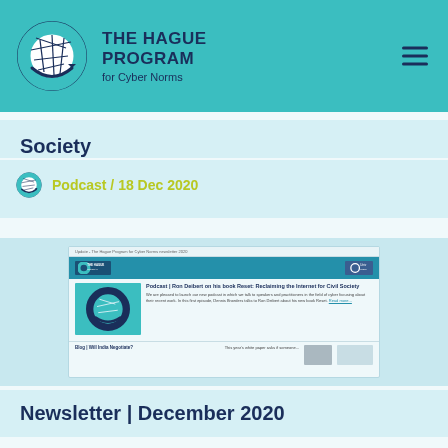THE HAGUE PROGRAM for Cyber Norms
Society
Podcast / 18 Dec 2020
[Figure (screenshot): Newsletter preview thumbnail showing The Hague Program newsletter with a podcast article about Ron Deibert and a blog post about India]
Newsletter | December 2020